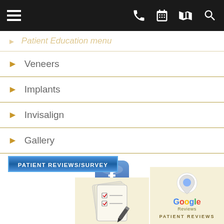Navigation bar with hamburger menu, phone, calendar, map, and search icons
Patient Education Menu
Veneers
Implants
Invisalign
Gallery
[Figure (logo): Facebook icon - blue rounded square with white 'f' logo]
[Figure (photo): PATIENT REVIEWS/SURVEY button - blue gradient with white bold text]
[Figure (logo): Google Reviews icon with location pin and Google text, on cream background with PATIENT REVIEWS text below]
[Figure (illustration): Survey/checklist icon on cream background - papers with checkmarks and a pen]